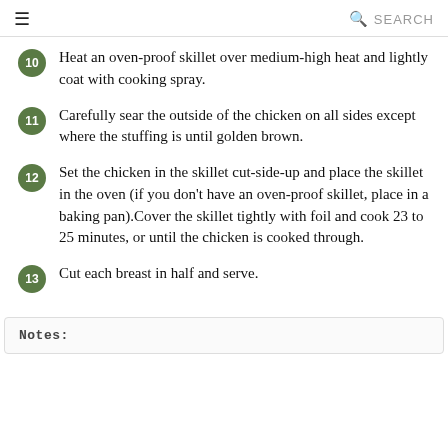≡  🔍 SEARCH
Heat an oven-proof skillet over medium-high heat and lightly coat with cooking spray.
Carefully sear the outside of the chicken on all sides except where the stuffing is until golden brown.
Set the chicken in the skillet cut-side-up and place the skillet in the oven (if you don't have an oven-proof skillet, place in a baking pan).Cover the skillet tightly with foil and cook 23 to 25 minutes, or until the chicken is cooked through.
Cut each breast in half and serve.
Notes: